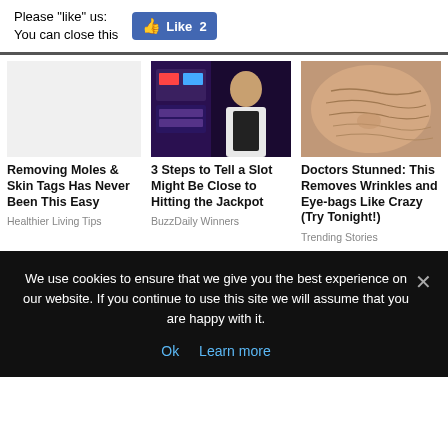Please "like" us: Like 2
You can close this
[Figure (photo): Casino slot machine with a man standing in front of it]
[Figure (photo): Close-up of elderly skin with wrinkles near nose and mouth]
Removing Moles & Skin Tags Has Never Been This Easy
Healthier Living Tips
3 Steps to Tell a Slot Might Be Close to Hitting the Jackpot
BuzzDaily Winners
Doctors Stunned: This Removes Wrinkles and Eye-bags Like Crazy (Try Tonight!)
Trending Stories
We use cookies to ensure that we give you the best experience on our website. If you continue to use this site we will assume that you are happy with it.
Ok  Learn more